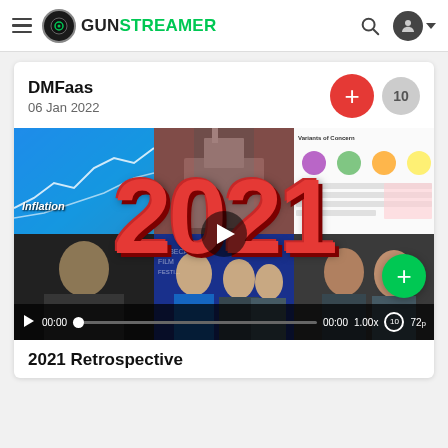GunStreamer navigation bar with hamburger menu, logo, search and user icons
DMFaas
06 Jan 2022
[Figure (screenshot): Video thumbnail collage showing inflation chart, Capitol riot, COVID variants of concern, Rittenhouse, Biden, Cuomo and Cuomo brothers at Tribeca Film Festival. Large red '2021' text overlay. Video player controls at bottom showing 00:00 timestamp, 1.00x speed, 720p quality.]
2021 Retrospective